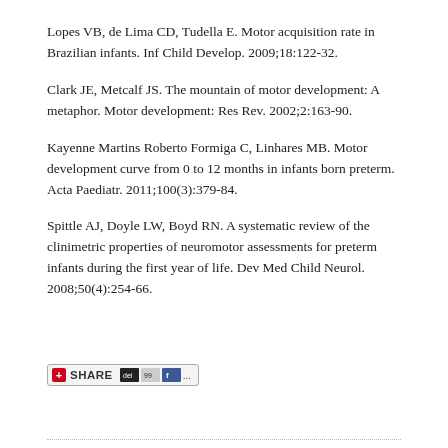Lopes VB, de Lima CD, Tudella E. Motor acquisition rate in Brazilian infants. Inf Child Develop. 2009;18:122-32.
Clark JE, Metcalf JS. The mountain of motor development: A metaphor. Motor development: Res Rev. 2002;2:163-90.
Kayenne Martins Roberto Formiga C, Linhares MB. Motor development curve from 0 to 12 months in infants born preterm. Acta Paediatr. 2011;100(3):379-84.
Spittle AJ, Doyle LW, Boyd RN. A systematic review of the clinimetric properties of neuromotor assessments for preterm infants during the first year of life. Dev Med Child Neurol. 2008;50(4):254-66.
[Figure (other): Social sharing button bar with SHARE label, del.icio.us, Digg, Facebook and more icons]